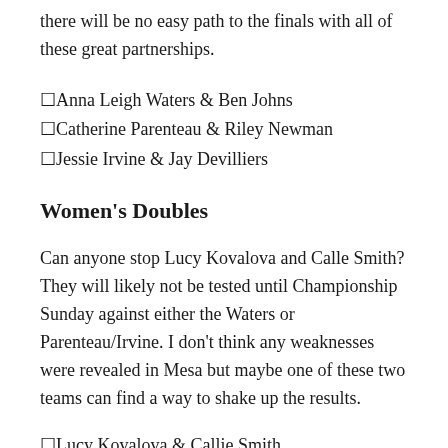there will be no easy path to the finals with all of these great partnerships.
🔲Anna Leigh Waters & Ben Johns
🔲Catherine Parenteau & Riley Newman
🔲Jessie Irvine & Jay Devilliers
Women's Doubles
Can anyone stop Lucy Kovalova and Calle Smith? They will likely not be tested until Championship Sunday against either the Waters or Parenteau/Irvine. I don't think any weaknesses were revealed in Mesa but maybe one of these two teams can find a way to shake up the results.
🔲Lucy Kovalova & Callie Smith